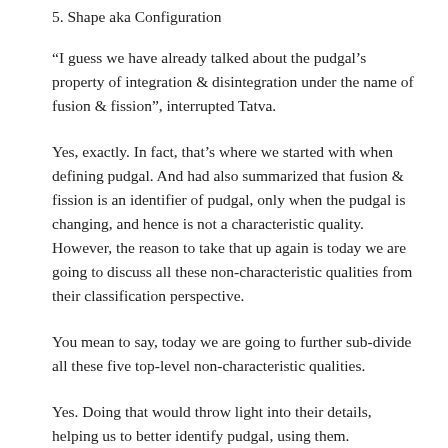5. Shape aka Configuration
“I guess we have already talked about the pudgal’s property of integration & disintegration under the name of fusion & fission”, interrupted Tatva.
Yes, exactly. In fact, that’s where we started with when defining pudgal. And had also summarized that fusion & fission is an identifier of pudgal, only when the pudgal is changing, and hence is not a characteristic quality. However, the reason to take that up again is today we are going to discuss all these non-characteristic qualities from their classification perspective.
You mean to say, today we are going to further sub-divide all these five top-level non-characteristic qualities.
Yes. Doing that would throw light into their details, helping us to better identify pudgal, using them.